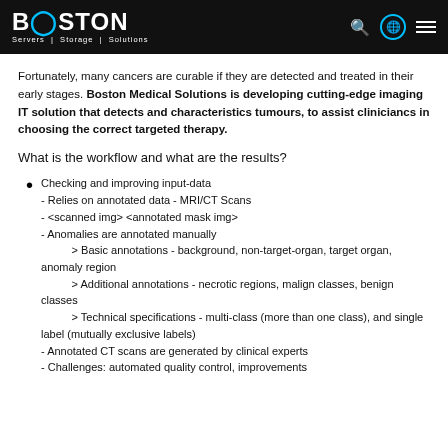BOSTON Servers | Storage | Solutions
Fortunately, many cancers are curable if they are detected and treated in their early stages. Boston Medical Solutions is developing cutting-edge imaging IT solution that detects and characteristics tumours, to assist cliniciancs in choosing the correct targeted therapy.
What is the workflow and what are the results?
Checking and improving input-data
- Relies on annotated data - MRI/CT Scans
- <scanned img> <annotated mask img>
- Anomalies are annotated manually
    > Basic annotations - background, non-target-organ, target organ, anomaly region
    > Additional annotations - necrotic regions, malign classes, benign classes
    > Technical specifications - multi-class (more than one class), and single label (mutually exclusive labels)
- Annotated CT scans are generated by clinical experts
- Challenges: automated quality control, improvements